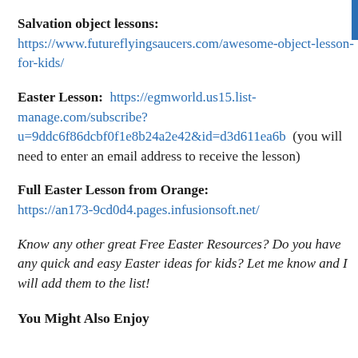Salvation object lessons: https://www.futureflyingsaucers.com/awesome-object-lesson-for-kids/
Easter Lesson: https://egmworld.us15.list-manage.com/subscribe?u=9ddc6f86dcbf0f1e8b24a2e42&id=d3d611ea6b (you will need to enter an email address to receive the lesson)
Full Easter Lesson from Orange: https://an173-9cd0d4.pages.infusionsoft.net/
Know any other great Free Easter Resources? Do you have any quick and easy Easter ideas for kids? Let me know and I will add them to the list!
You Might Also Enjoy